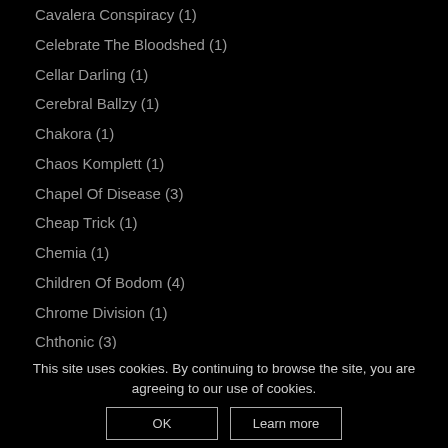Cavalera Conspiracy (1)
Celebrate The Bloodshed (1)
Cellar Darling (1)
Cerebral Ballzy (1)
Chakora (1)
Chaos Komplett (1)
Chapel Of Disease (3)
Cheap Trick (1)
Chemia (1)
Children Of Bodom (4)
Chrome Division (1)
Chthonic (3)
Church Of Misery (1)
Circus Rhapsody (1)
Civil War (1)
Clawfinger (1)
This site uses cookies. By continuing to browse the site, you are agreeing to our use of cookies.